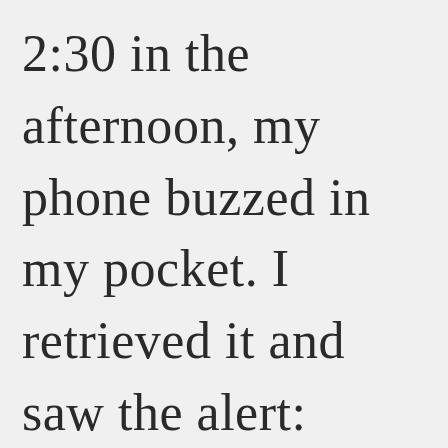2:30 in the afternoon, my phone buzzed in my pocket. I retrieved it and saw the alert: